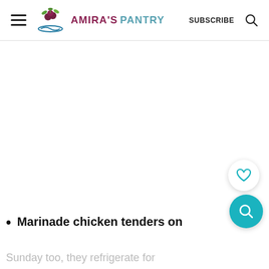AMIRA'S PANTRY | SUBSCRIBE
[Figure (other): White blank/ad area in main content]
Marinade chicken tenders on
Sunday too, they refrigerate for